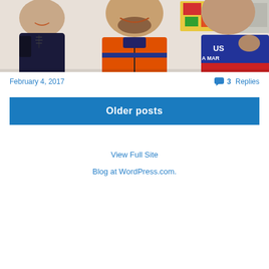[Figure (photo): Three men smiling and posing together. The man on the left wears a dark navy top, the man in the center wears an orange zip-up jacket, and the man on the right wears a navy blue sports jersey with red accents. Colorful artwork is visible on the wall in the background.]
February 4, 2017
3 Replies
Older posts
View Full Site
Blog at WordPress.com.